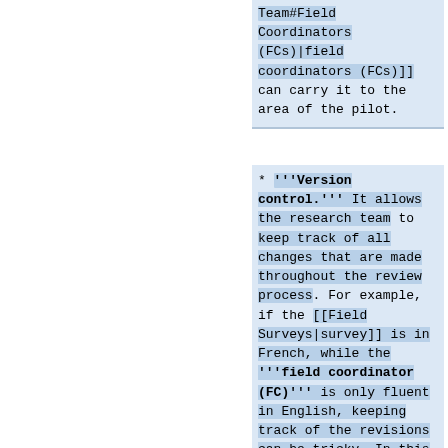Team#Field Coordinators (FCs)|field coordinators (FCs)]] can carry it to the area of the pilot.
* '''Version control.''' It allows the research team to keep track of all changes that are made throughout the review process. For example, if the [[Field Surveys|survey]] is in French, while the '''field coordinator (FC)''' is only fluent in English, keeping track of the revisions can be tricky. In this